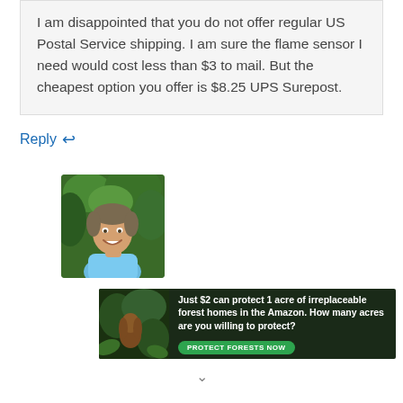I am disappointed that you do not offer regular US Postal Service shipping. I am sure the flame sensor I need would cost less than $3 to mail. But the cheapest option you offer is $8.25 UPS Surepost.
Reply
[Figure (photo): Avatar photo of a smiling middle-aged man in a light blue polo shirt, with green foliage in the background]
[Figure (infographic): Advertisement banner: dark green/forest background with a person holding a plant/animal. Text: 'Just $2 can protect 1 acre of irreplaceable forest homes in the Amazon. How many acres are you willing to protect?' with a green 'PROTECT FORESTS NOW' button]